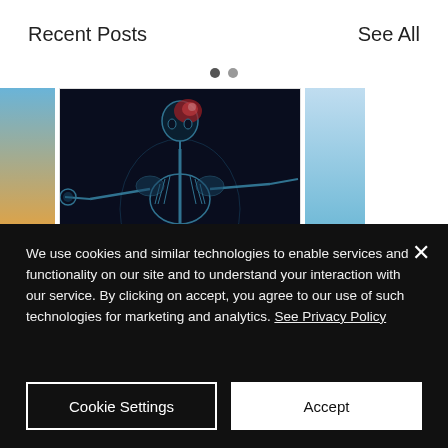Recent Posts
See All
[Figure (photo): X-ray/medical illustration of a human skeleton with glowing red head region, arms outstretched, on dark background — representing psychology and stress topic]
Bite Size - Phsycology And Stress Of...
We use cookies and similar technologies to enable services and functionality on our site and to understand your interaction with our service. By clicking on accept, you agree to our use of such technologies for marketing and analytics. See Privacy Policy